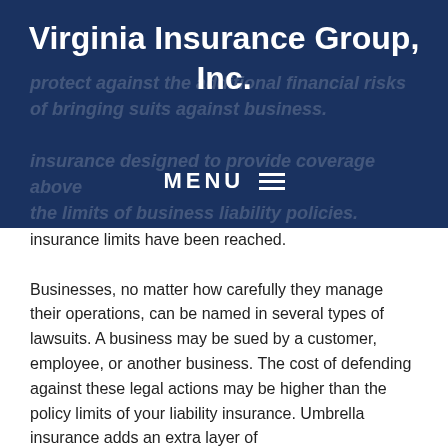Virginia Insurance Group, Inc.
protect against the additional financial risks of bringing suits against business. insurance designed to provide coverage above the limits of business liability policies. The insurance takes over when your liability insurance limits have been reached.
MENU
insurance limits have been reached.
Businesses, no matter how carefully they manage their operations, can be named in several types of lawsuits. A business may be sued by a customer, employee, or another business. The cost of defending against these legal actions may be higher than the policy limits of your liability insurance. Umbrella insurance adds an extra layer of